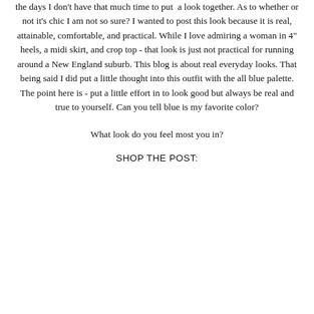the days I don't have that much time to put a look together. As to whether or not it's chic I am not so sure? I wanted to post this look because it is real, attainable, comfortable, and practical. While I love admiring a woman in 4" heels, a midi skirt, and crop top - that look is just not practical for running around a New England suburb. This blog is about real everyday looks. That being said I did put a little thought into this outfit with the all blue palette. The point here is - put a little effort in to look good but always be real and true to yourself. Can you tell blue is my favorite color?
What look do you feel most you in?
SHOP THE POST: